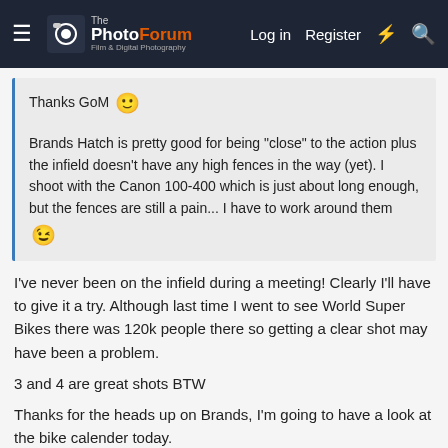The PhotoForum — Log in  Register
Thanks GoM 🙂
Brands Hatch is pretty good for being "close" to the action plus the infield doesn't have any high fences in the way (yet). I shoot with the Canon 100-400 which is just about long enough, but the fences are still a pain... I have to work around them 😉
I've never been on the infield during a meeting! Clearly I'll have to give it a try. Although last time I went to see World Super Bikes there was 120k people there so getting a clear shot may have been a problem.
3 and 4 are great shots BTW
Thanks for the heads up on Brands, I'm going to have a look at the bike calender today.